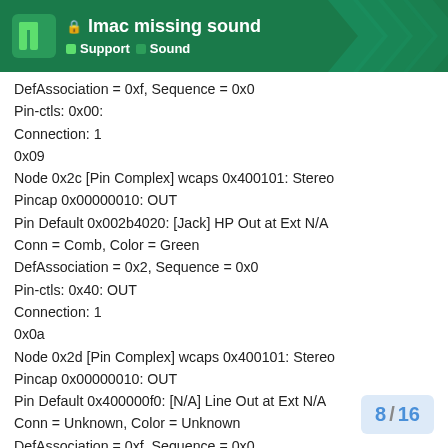lmac missing sound | Support | Sound
DefAssociation = 0xf, Sequence = 0x0
Pin-ctls: 0x00:
Connection: 1
0x09
Node 0x2c [Pin Complex] wcaps 0x400101: Stereo
Pincap 0x00000010: OUT
Pin Default 0x002b4020: [Jack] HP Out at Ext N/A
Conn = Comb, Color = Green
DefAssociation = 0x2, Sequence = 0x0
Pin-ctls: 0x40: OUT
Connection: 1
0x0a
Node 0x2d [Pin Complex] wcaps 0x400101: Stereo
Pincap 0x00000010: OUT
Pin Default 0x400000f0: [N/A] Line Out at Ext N/A
Conn = Unknown, Color = Unknown
DefAssociation = 0xf, Sequence = 0x0
Pin-ctls: 0x00:
Connection: 1
8 / 16